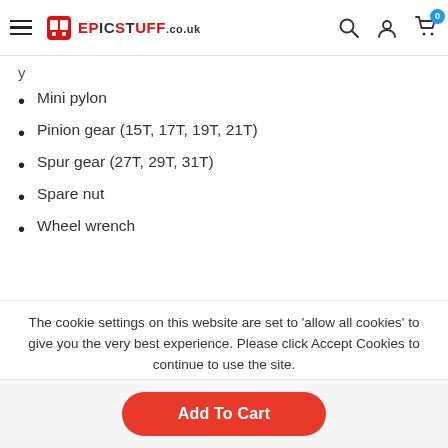EpicStuff.co.uk navigation header with logo, search, account, and cart icons
Mini pylon
Pinion gear (15T, 17T, 19T, 21T)
Spur gear (27T, 29T, 31T)
Spare nut
Wheel wrench
The cookie settings on this website are set to 'allow all cookies' to give you the very best experience. Please click Accept Cookies to continue to use the site.
Accept | Privacy Policy
Add To Cart